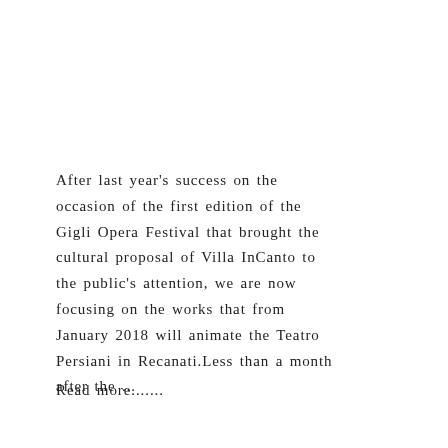After last year's success on the occasion of the first edition of the Gigli Opera Festival that brought the cultural proposal of Villa InCanto to the public's attention, we are now focusing on the works that from January 2018 will animate the Teatro Persiani in Recanati.Less than a month after the ...
Read more.......